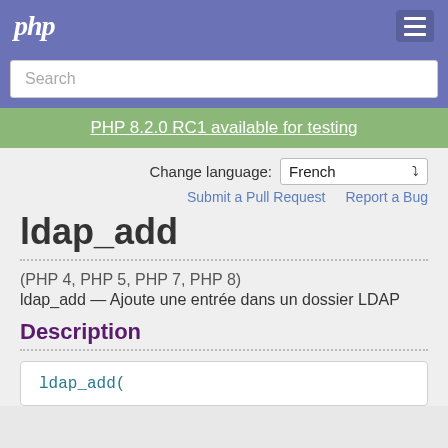php
Search
PHP 8.2.0 RC1 available for testing
Change language: French
Submit a Pull Request   Report a Bug
ldap_add
(PHP 4, PHP 5, PHP 7, PHP 8)
ldap_add — Ajoute une entrée dans un dossier LDAP
Description
ldap_add(